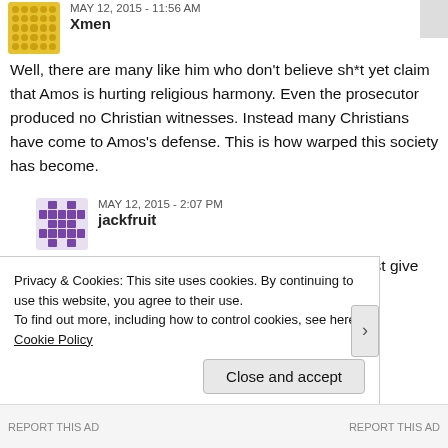MAY 12, 2015 - 11:56 AM
Xmen
Well, there are many like him who don't believe sh*t yet claim that Amos is hurting religious harmony. Even the prosecutor produced no Christian witnesses. Instead many Christians have come to Amos's defense. This is how warped this society has become.
MAY 12, 2015 - 2:07 PM
jackfruit
Don't need to know a lot about other religions. Just give them due respect.
MAY 12, 2015 - 2:36 PM
Rizzy Khaos
Privacy & Cookies: This site uses cookies. By continuing to use this website, you agree to their use.
To find out more, including how to control cookies, see here: Cookie Policy
Close and accept